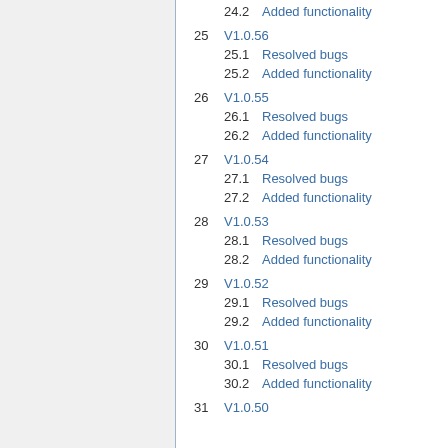24.2  Added functionality
25  V1.0.56
25.1  Resolved bugs
25.2  Added functionality
26  V1.0.55
26.1  Resolved bugs
26.2  Added functionality
27  V1.0.54
27.1  Resolved bugs
27.2  Added functionality
28  V1.0.53
28.1  Resolved bugs
28.2  Added functionality
29  V1.0.52
29.1  Resolved bugs
29.2  Added functionality
30  V1.0.51
30.1  Resolved bugs
30.2  Added functionality
31  V1.0.50